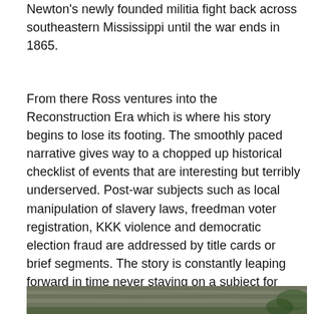Newton's newly founded militia fight back across southeastern Mississippi until the war ends in 1865.
From there Ross ventures into the Reconstruction Era which is where his story begins to lose its footing. The smoothly paced narrative gives way to a chopped up historical checklist of events that are interesting but terribly underserved. Post-war subjects such as local manipulation of slavery laws, freedman voter registration, KKK violence and democratic election fraud are addressed by title cards or brief segments. The story is constantly leaping forward in time never staying on a subject for more than a few minutes. It leaves the impression that Ross ran out of time, ran out of funds, or maybe both.
[Figure (photo): Photograph of a wooden shingle roof with trees visible in the background]